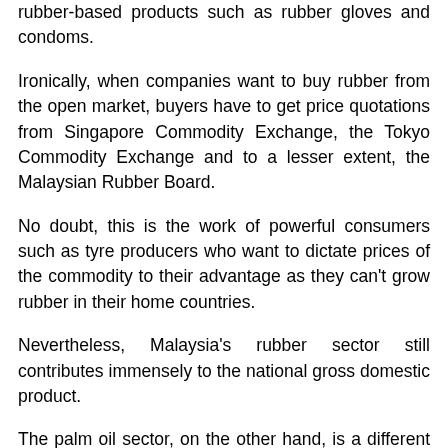rubber-based products such as rubber gloves and condoms.
Ironically, when companies want to buy rubber from the open market, buyers have to get price quotations from Singapore Commodity Exchange, the Tokyo Commodity Exchange and to a lesser extent, the Malaysian Rubber Board.
No doubt, this is the work of powerful consumers such as tyre producers who want to dictate prices of the commodity to their advantage as they can't grow rubber in their home countries.
Nevertheless, Malaysia's rubber sector still contributes immensely to the national gross domestic product.
The palm oil sector, on the other hand, is a different story.
Since its debut in Malaysia in the 1960s, the crop has